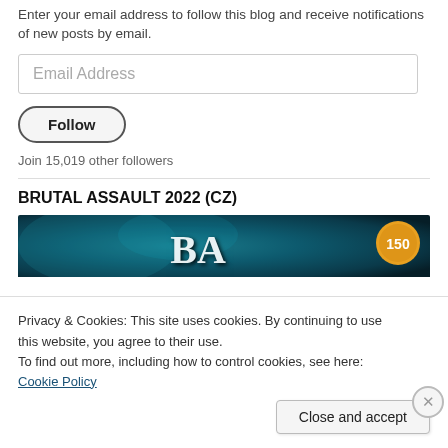Enter your email address to follow this blog and receive notifications of new posts by email.
Email Address
Follow
Join 15,019 other followers
BRUTAL ASSAULT 2022 (CZ)
[Figure (illustration): Event banner with gothic lettering BA and a badge showing 150 on a teal/dark blue background]
Privacy & Cookies: This site uses cookies. By continuing to use this website, you agree to their use.
To find out more, including how to control cookies, see here: Cookie Policy
Close and accept